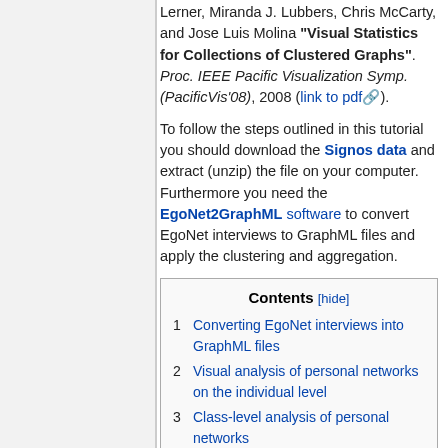Lerner, Miranda J. Lubbers, Chris McCarty, and Jose Luis Molina "Visual Statistics for Collections of Clustered Graphs". Proc. IEEE Pacific Visualization Symp. (PacificVis'08), 2008 (link to pdf).
To follow the steps outlined in this tutorial you should download the Signos data and extract (unzip) the file on your computer. Furthermore you need the EgoNet2GraphML software to convert EgoNet interviews to GraphML files and apply the clustering and aggregation.
| # | Contents |
| --- | --- |
| 1 | Converting EgoNet interviews into GraphML files |
| 2 | Visual analysis of personal networks on the individual level |
| 3 | Class-level analysis of personal networks |